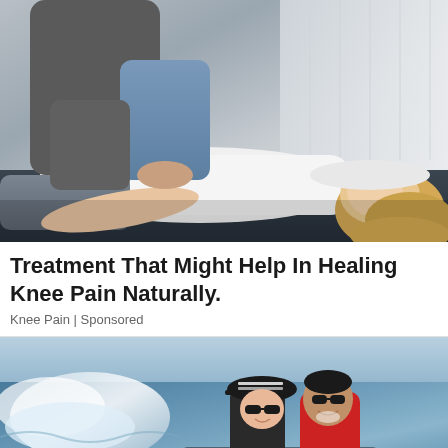[Figure (photo): A blonde woman lying on a treatment table in a white top and gray pants, receiving chiropractic or physical therapy treatment from a practitioner in blue scrubs who is manipulating her back/hip area.]
Treatment That Might Help In Healing Knee Pain Naturally.
Knee Pain | Sponsored
[Figure (photo): A couple — a woman wearing a Croatia cap and sunglasses and a man in a red t-shirt wearing sunglasses — smiling on a speedboat with ocean waves in the background.]